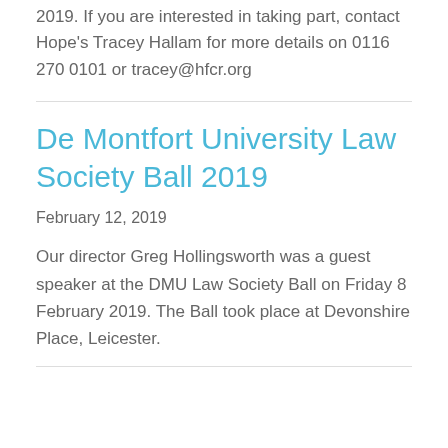2019. If you are interested in taking part, contact Hope's Tracey Hallam for more details on 0116 270 0101 or tracey@hfcr.org
De Montfort University Law Society Ball 2019
February 12, 2019
Our director Greg Hollingsworth was a guest speaker at the DMU Law Society Ball on Friday 8 February 2019. The Ball took place at Devonshire Place, Leicester.